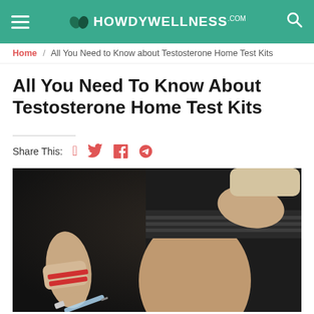HOWDYWELLNESS.com
Home / All You Need to Know about Testosterone Home Test Kits
All You Need To Know About Testosterone Home Test Kits
Share This: [Facebook] [Twitter] [Google+]
[Figure (photo): A person holding a syringe near their leg, wearing black shorts and a wrist wrap with red stripes, suggesting injection. Dark background.]